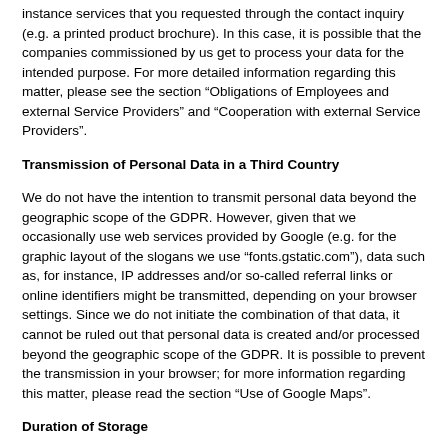instance services that you requested through the contact inquiry (e.g. a printed product brochure). In this case, it is possible that the companies commissioned by us get to process your data for the intended purpose. For more detailed information regarding this matter, please see the section “Obligations of Employees and external Service Providers” and “Cooperation with external Service Providers”.
Transmission of Personal Data in a Third Country
We do not have the intention to transmit personal data beyond the geographic scope of the GDPR. However, given that we occasionally use web services provided by Google (e.g. for the graphic layout of the slogans we use “fonts.gstatic.com”), data such as, for instance, IP addresses and/or so-called referral links or online identifiers might be transmitted, depending on your browser settings. Since we do not initiate the combination of that data, it cannot be ruled out that personal data is created and/or processed beyond the geographic scope of the GDPR. It is possible to prevent the transmission in your browser; for more information regarding this matter, please read the section “Use of Google Maps”.
Duration of Storage